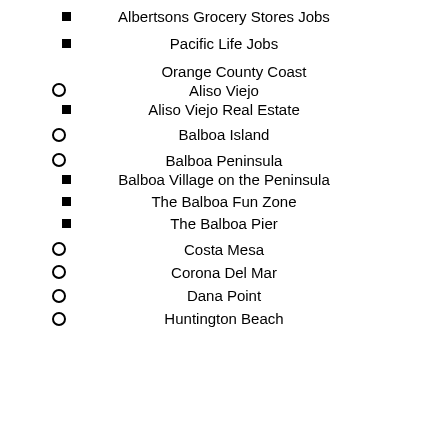Albertsons Grocery Stores Jobs
Pacific Life Jobs
Orange County Coast
Aliso Viejo
Aliso Viejo Real Estate
Balboa Island
Balboa Peninsula
Balboa Village on the Peninsula
The Balboa Fun Zone
The Balboa Pier
Costa Mesa
Corona Del Mar
Dana Point
Huntington Beach